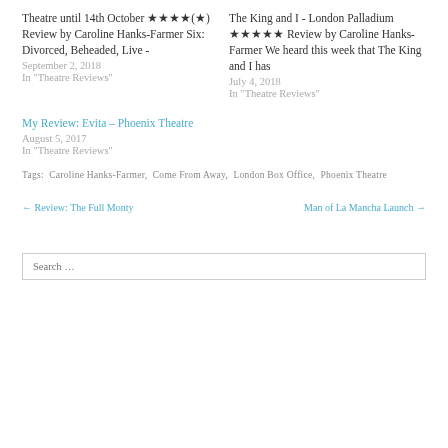Theatre until 14th October ★★★★(★) Review by Caroline Hanks-Farmer Six: Divorced, Beheaded, Live -
September 2, 2018
In "Theatre Reviews"
The King and I - London Palladium ★★★★★ Review by Caroline Hanks-Farmer We heard this week that The King and I has
July 4, 2018
In "Theatre Reviews"
My Review: Evita – Phoenix Theatre
August 5, 2017
In "Theatre Reviews"
Tags: Caroline Hanks-Farmer, Come From Away, London Box Office, Phoenix Theatre
← Review: The Full Monty
Man of La Mancha Launch →
Search …